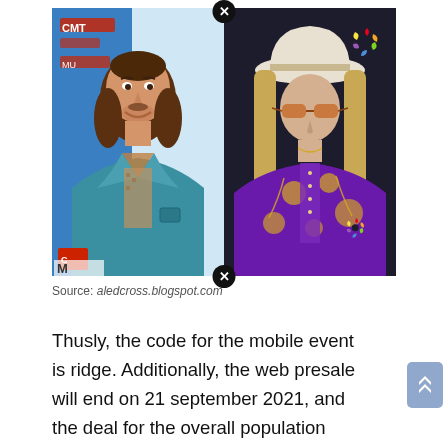[Figure (photo): Two side-by-side photos of country music artists. Left: man with medium-length brown hair wearing a teal/blue jacket over a patterned shirt, smiling, in front of a CMT Music backdrop. Right: man wearing a white cowboy hat, sunglasses, and a purple embroidered Western shirt, in front of a dark backdrop with NBC peacock logo.]
Source: aledcross.blogspot.com
Thusly, the code for the mobile event is ridge. Additionally, the web presale will end on 21 september 2021, and the deal for the overall population closes on 11 december 2021.